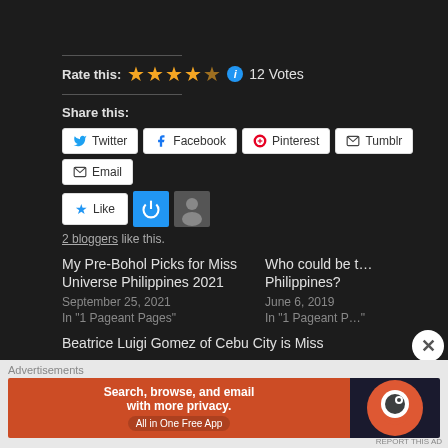Outfit: @maisonglarino
Rate this: ★★★★★ ℹ 12 Votes
Share this:
Twitter  Facebook  Pinterest  Tumblr  Email
Like
2 bloggers like this.
My Pre-Bohol Picks for Miss Universe Philippines 2021
September 25, 2021
In "1 Pageant Pages"
Who could be t… Philippines?
June 6, 2019
In "1 Pageant P…"
Beatrice Luigi Gomez of Cebu City is Miss
Advertisements
[Figure (screenshot): DuckDuckGo advertisement banner: 'Search, browse, and email with more privacy. All in One Free App' on orange background with DuckDuckGo logo on dark right panel]